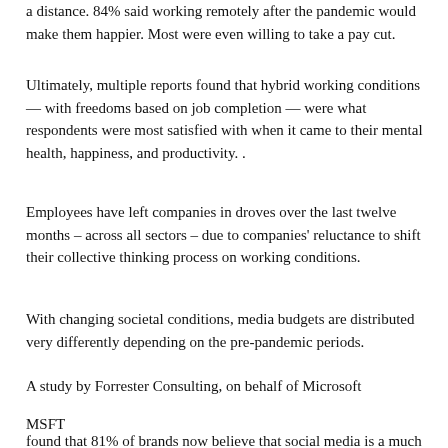a distance. 84% said working remotely after the pandemic would make them happier. Most were even willing to take a pay cut.
Ultimately, multiple reports found that hybrid working conditions — with freedoms based on job completion — were what respondents were most satisfied with when it came to their mental health, happiness, and productivity. .
Employees have left companies in droves over the last twelve months – across all sectors – due to companies' reluctance to shift their collective thinking process on working conditions.
With changing societal conditions, media budgets are distributed very differently depending on the pre-pandemic periods.
A study by Forrester Consulting, on behalf of Microsoft
MSFT
found that 81% of brands now believe that social media is a much